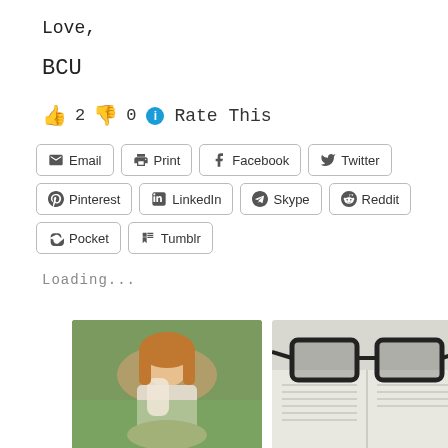Love,
BCU
👍 2 👎 0 ℹ Rate This
Email  Print  Facebook  Twitter  Pinterest  LinkedIn  Skype  Reddit  Pocket  Tumblr
Loading...
[Figure (photo): Young woman drinking from a bottle outdoors in a park setting]
[Figure (photo): Black-framed glasses resting on open book pages, black and white photo]